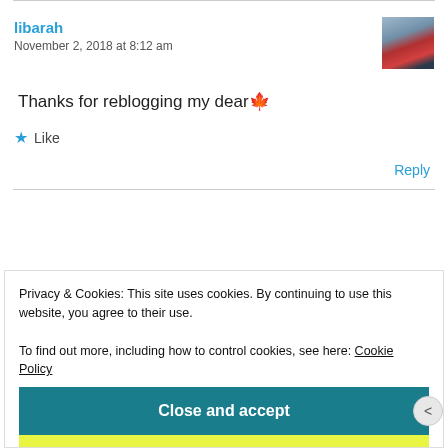libarah
November 2, 2018 at 8:12 am
Thanks for reblogging my dear 😍
Like
Reply
Privacy & Cookies: This site uses cookies. By continuing to use this website, you agree to their use.
To find out more, including how to control cookies, see here: Cookie Policy
Close and accept